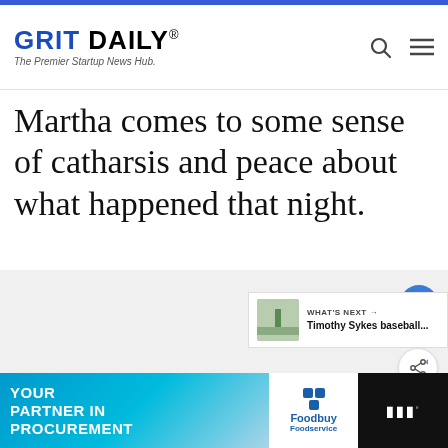GRIT DAILY® — The Premier Startup News Hub.
Martha comes to some sense of catharsis and peace about what happened that night.
[Figure (photo): Light gray placeholder image area for embedded media content]
WHAT'S NEXT → Timothy Sykes baseball...
[Figure (infographic): Bottom advertisement bar: YOUR PARTNER IN PROCUREMENT (left, teal blue with puzzle piece imagery), Foodbuy Foodservice logo (center, white background), Motley Fool logo (right, dark background)]